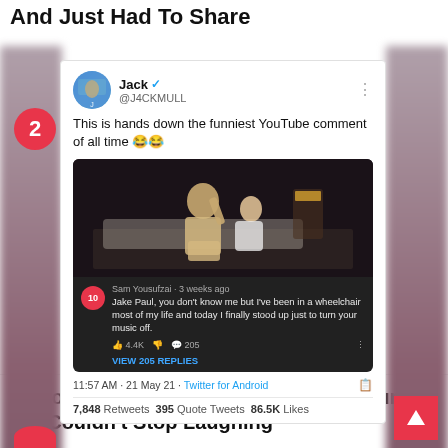And Just Had To Share
[Figure (screenshot): Tweet by Jack (@J4CKMULL) showing a screenshot of a YouTube comment by Sam Yousufzai reading: 'Jake Paul, you don't know me but I've been in a wheelchair most of my life and today I finally stood up just to turn your music off.' with 4.4K likes and 205 replies. Tweet time: 11:57 AM · 21 May 21 · Twitter for Android. 7,848 Retweets, 395 Quote Tweets, 86.5K Likes.]
17 Youtube Comments That Were So Funny, We Couldn't Stop Laughing